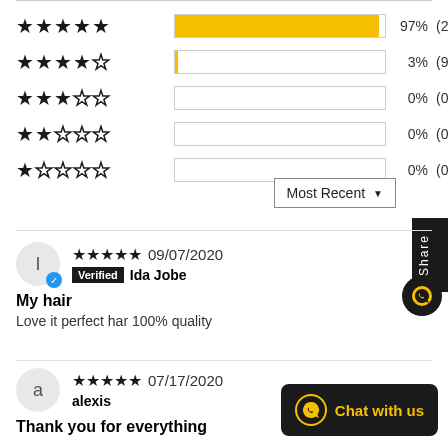[Figure (bar-chart): Star rating distribution]
Most Recent ▼
★★★★★ 09/07/2020 Verified Ida Jobe
My hair
Love it perfect har 100% quality
★★★★★ 07/17/2020 alexis
Thank you for everything